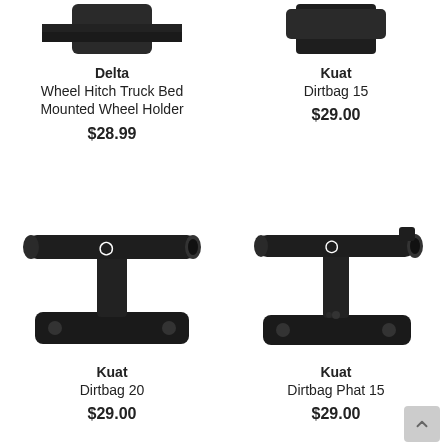[Figure (photo): Partial image of Delta Wheel Hitch Truck Bed Mounted Wheel Holder product (top cropped)]
Delta
Wheel Hitch Truck Bed Mounted Wheel Holder
$28.99
[Figure (photo): Partial image of Kuat Dirtbag 15 product (top cropped)]
Kuat
Dirtbag 15
$29.00
[Figure (photo): Photo of Kuat Dirtbag 20 black metal T-bar truck bed wheel holder mounted on flat plate]
Kuat
Dirtbag 20
$29.00
[Figure (photo): Photo of Kuat Dirtbag Phat 15 black metal T-bar truck bed wheel holder mounted on flat plate]
Kuat
Dirtbag Phat 15
$29.00